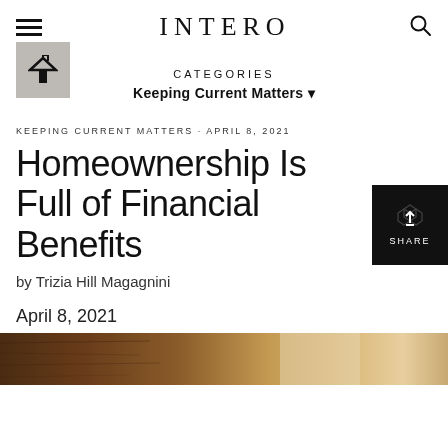INTERO
CATEGORIES
Keeping Current Matters
KEEPING CURRENT MATTERS · APRIL 8, 2021
Homeownership Is Full of Financial Benefits
by Trizia Hill Magagnini
April 8, 2021
[Figure (photo): Interior home photo showing wood tones and warm natural light]